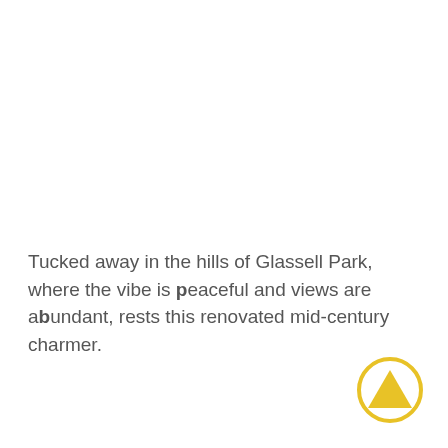Tucked away in the hills of Glassell Park, where the vibe is peaceful and views are abundant, rests this renovated mid-century charmer.
[Figure (logo): A circular logo with a golden/yellow circle outline containing a solid golden/yellow triangle (upward-pointing) in the center.]